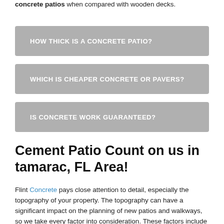concrete patios when compared with wooden decks.
HOW THICK IS A CONCRETE PATIO?
WHICH IS CHEAPER CONCRETE OR PAVERS?
IS CONCRETE WORK GUARANTEED?
Cement Patio Count on us in tamarac, FL Area!
Flint Concrete pays close attention to detail, especially the topography of your property. The topography can have a significant impact on the planning of new patios and walkways, so we take every factor into consideration. These factors include the architecture, flatness, slope and other elements of your property when planning your new patio and